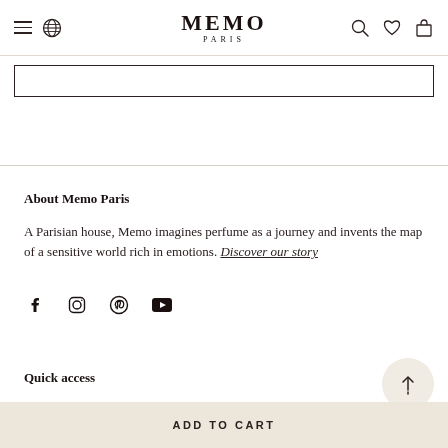MEMO PARIS
About Memo Paris
A Parisian house, Memo imagines perfume as a journey and invents the map of a sensitive world rich in emotions. Discover our story
[Figure (other): Social media icons: Facebook, Instagram, Pinterest, YouTube]
Quick access
Perfumes
ADD TO CART